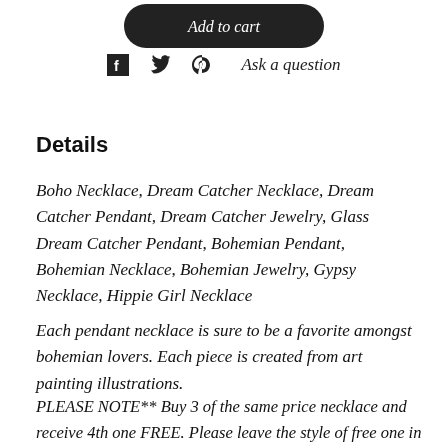[Figure (other): Add to cart button, rounded black pill shape with italic text]
Ask a question (with social share icons for Facebook, Twitter, Pinterest)
Details
Boho Necklace, Dream Catcher Necklace, Dream Catcher Pendant, Dream Catcher Jewelry, Glass Dream Catcher Pendant, Bohemian Pendant, Bohemian Necklace, Bohemian Jewelry, Gypsy Necklace, Hippie Girl Necklace
Each pendant necklace is sure to be a favorite amongst bohemian lovers. Each piece is created from art painting illustrations.
PLEASE NOTE** Buy 3 of the same price necklace and receive 4th one FREE. Please leave the style of free one in special instructions and I